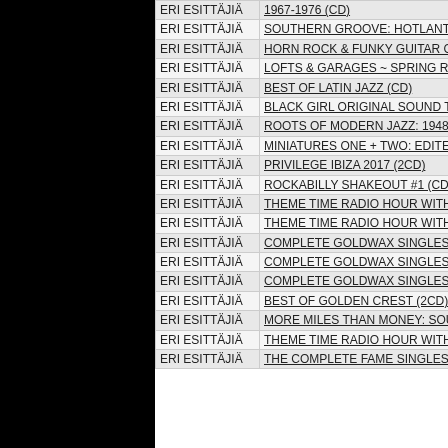| Artist | Title |
| --- | --- |
| ERI ESITTÄJIÄ | 1967-1976 (CD) |
| ERI ESITTÄJIÄ | SOUTHERN GROOVE: HOTLANTA, A... |
| ERI ESITTÄJIÄ | HORN ROCK & FUNKY GUITAR GRO... |
| ERI ESITTÄJIÄ | LOFTS & GARAGES ~ SPRING RECO... |
| ERI ESITTÄJIÄ | BEST OF LATIN JAZZ (CD) |
| ERI ESITTÄJIÄ | BLACK GIRL ORIGINAL SOUND TRA... |
| ERI ESITTÄJIÄ | ROOTS OF MODERN JAZZ: 1948 SE... |
| ERI ESITTÄJIÄ | MINIATURES ONE + TWO: EDITED B... |
| ERI ESITTÄJIÄ | PRIVILEGE IBIZA 2017 (2CD) |
| ERI ESITTÄJIÄ | ROCKABILLY SHAKEOUT #1 (CD) |
| ERI ESITTÄJIÄ | THEME TIME RADIO HOUR WITH YO... |
| ERI ESITTÄJIÄ | THEME TIME RADIO HOUR WITH YO... |
| ERI ESITTÄJIÄ | COMPLETE GOLDWAX SINGLES VO... |
| ERI ESITTÄJIÄ | COMPLETE GOLDWAX SINGLES VO... |
| ERI ESITTÄJIÄ | COMPLETE GOLDWAX SINGLES VO... |
| ERI ESITTÄJIÄ | BEST OF GOLDEN CREST (2CD) |
| ERI ESITTÄJIÄ | MORE MILES THAN MONEY: SOUND... |
| ERI ESITTÄJIÄ | THEME TIME RADIO HOUR WITH YO... |
| ERI ESITTÄJIÄ | THE COMPLETE FAME SINGLES VO... |